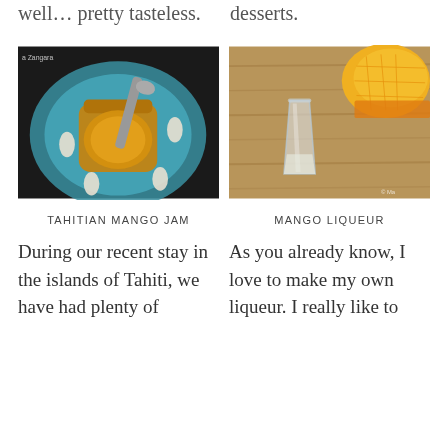well… pretty tasteless.
desserts.
[Figure (photo): Jar of mango jam on a blue decorative plate with shells and a spoon, watermark 'a Zangara']
[Figure (photo): Shot glass of clear mango liqueur on a wooden surface with cut mango in background, watermark '© Ma']
TAHITIAN MANGO JAM
MANGO LIQUEUR
During our recent stay in the islands of Tahiti, we have had plenty of
As you already know, I love to make my own liqueur. I really like to